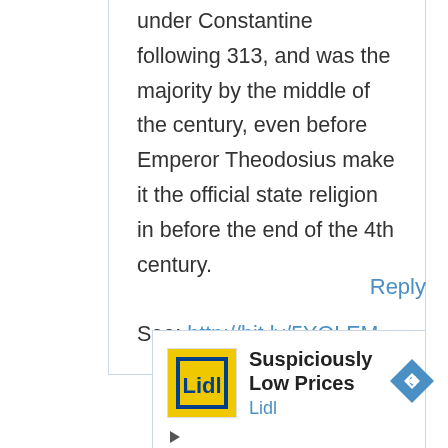under Constantine following 313, and was the majority by the middle of the century, even before Emperor Theodosius make it the official state religion in before the end of the 4th century.

See: http://bit.ly/5YQLEM
Reply
[Figure (other): Lidl advertisement banner with yellow Lidl logo image, bold text 'Suspiciously Low Prices', blue 'Lidl' brand text, and a blue diamond-shaped navigation arrow icon on the right. Below are small ad control icons (play and close).]